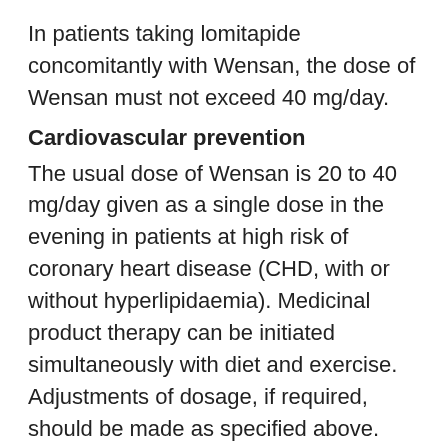In patients taking lomitapide concomitantly with Wensan, the dose of Wensan must not exceed 40 mg/day.
Cardiovascular prevention
The usual dose of Wensan is 20 to 40 mg/day given as a single dose in the evening in patients at high risk of coronary heart disease (CHD, with or without hyperlipidaemia). Medicinal product therapy can be initiated simultaneously with diet and exercise. Adjustments of dosage, if required, should be made as specified above.
Concomitant therapy
Wensan is effective alone or in combination with bile acid sequestrants. Dosing should occur either > 2 hours before or > 4 hours after administration of a bile acid sequestrant.